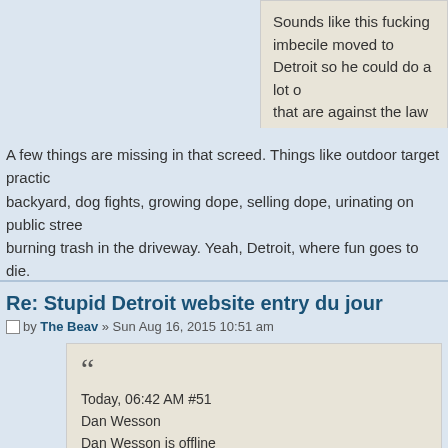Sounds like this fucking imbecile moved to Detroit so he could do a lot of things that are against the law pretty much everywhere.
A few things are missing in that screed. Things like outdoor target practice in the backyard, dog fights, growing dope, selling dope, urinating on public streets, burning trash in the driveway. Yeah, Detroit, where fun goes to die.
Re: Stupid Detroit website entry du jour
by The Beav » Sun Aug 16, 2015 10:51 am
Today, 06:42 AM #51
Dan Wesson
Dan Wesson is offline

Join Date
Nov 2013
Posts
905